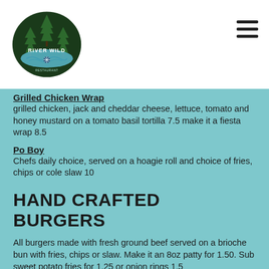[Figure (logo): River Wild restaurant logo with pine trees and water graphics]
Grilled Chicken Wrap
grilled chicken, jack and cheddar cheese, lettuce, tomato and honey mustard on a tomato basil tortilla 7.5 make it a fiesta wrap 8.5
Po Boy
Chefs daily choice, served on a hoagie roll and choice of fries, chips or cole slaw 10
HAND CRAFTED BURGERS
All burgers made with fresh ground beef served on a brioche bun with fries, chips or slaw. Make it an 8oz patty for 1.50. Sub sweet potato fries for 1.25 or onion rings 1.5